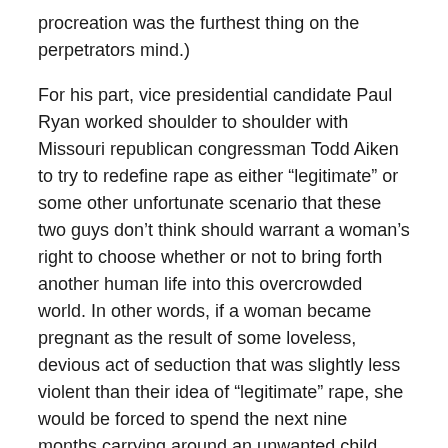procreation was the furthest thing on the perpetrators mind.)
For his part, vice presidential candidate Paul Ryan worked shoulder to shoulder with Missouri republican congressman Todd Aiken to try to redefine rape as either “legitimate” or some other unfortunate scenario that these two guys don’t think should warrant a woman’s right to choose whether or not to bring forth another human life into this overcrowded world. In other words, if a woman became pregnant as the result of some loveless, devious act of seduction that was slightly less violent than their idea of “legitimate” rape, she would be forced to spend the next nine months carrying around an unwanted child (Like Mia Farrow in Rosemary’s Baby, pregnant with the Devil’s spawn).